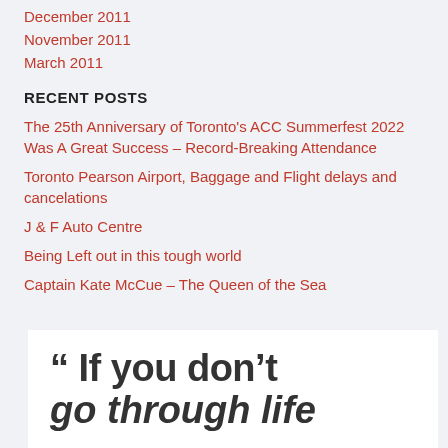December 2011
November 2011
March 2011
RECENT POSTS
The 25th Anniversary of Toronto's ACC Summerfest 2022 Was A Great Success – Record-Breaking Attendance
Toronto Pearson Airport, Baggage and Flight delays and cancelations
J & F Auto Centre
Being Left out in this tough world
Captain Kate McCue – The Queen of the Sea
[Figure (illustration): White box with large bold dark grey text reading: “ If you don't go through life]